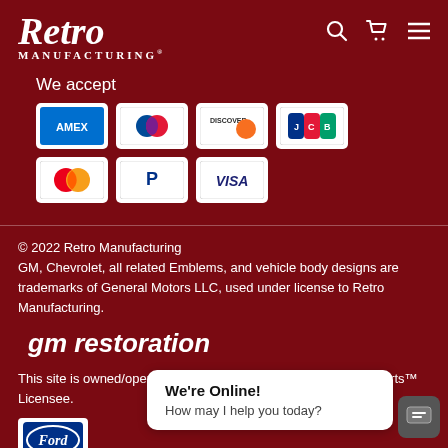[Figure (logo): Retro Manufacturing logo in white cursive script with 'MANUFACTURING' in small caps below, on dark red background]
We accept
[Figure (infographic): Payment method icons: American Express, Diners Club, Discover, JCB, Mastercard, PayPal, Visa]
© 2022 Retro Manufacturing
GM, Chevrolet, all related Emblems, and vehicle body designs are trademarks of General Motors LLC, used under license to Retro Manufacturing.
[Figure (logo): gm restoration logo in white italic text]
This site is owned/operated by an authorized GM Restoration Parts™ Licensee.
[Figure (logo): Ford oval logo badge in white background]
We're Online!
How may I help you today?